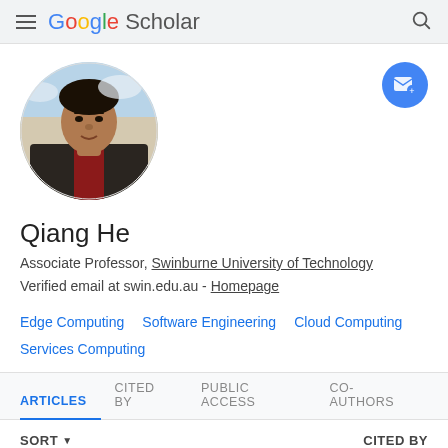Google Scholar
[Figure (photo): Circular profile photo of Qiang He, a man in a dark jacket and red shirt against a cloudy sky background]
Qiang He
Associate Professor, Swinburne University of Technology
Verified email at swin.edu.au - Homepage
Edge Computing
Software Engineering
Cloud Computing
Services Computing
ARTICLES  CITED BY  PUBLIC ACCESS  CO-AUTHORS
SORT  CITED BY